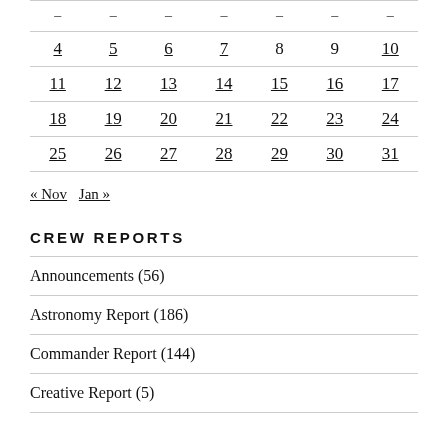| – | – | – | – | – | – | – |
| --- | --- | --- | --- | --- | --- | --- |
| 4 | 5 | 6 | 7 | 8 | 9 | 10 |
| 11 | 12 | 13 | 14 | 15 | 16 | 17 |
| 18 | 19 | 20 | 21 | 22 | 23 | 24 |
| 25 | 26 | 27 | 28 | 29 | 30 | 31 |
« Nov  Jan »
CREW REPORTS
Announcements (56)
Astronomy Report (186)
Commander Report (144)
Creative Report (5)